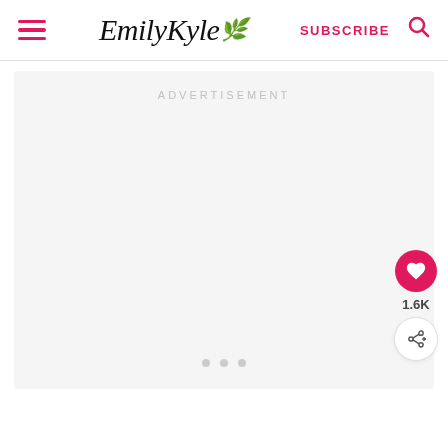Emily Kyle - navigation header with hamburger menu, logo, SUBSCRIBE button, and search icon
ADVERTISEMENT
[Figure (other): Empty advertisement placeholder area with three dots at the bottom indicating a loading or carousel state]
[Figure (other): Floating action buttons: heart/save button with 1.6K count, and a share button]